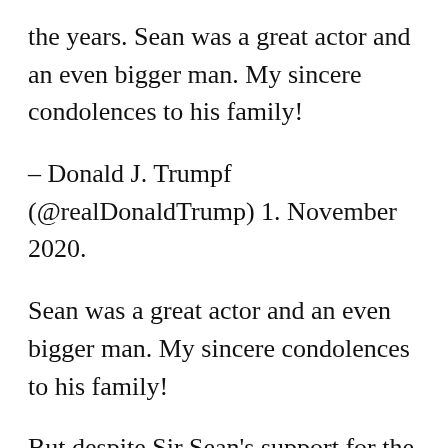the years. Sean was a great actor and an even bigger man. My sincere condolences to his family!
– Donald J. Trumpf (@realDonaldTrump) 1. November 2020.
Sean was a great actor and an even bigger man. My sincere condolences to his family!
But despite Sir Sean's support for the project, which was inaugurated in 2010, Mirror claims it was a promise of jobs that was eventually won by then Prime Minister Alex Salmond after